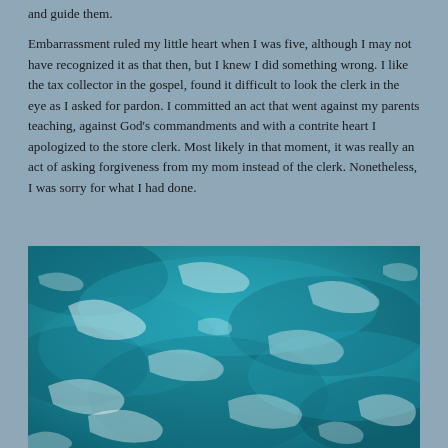and guide them.
Embarrassment ruled my little heart when I was five, although I may not have recognized it as that then, but I knew I did something wrong. I like the tax collector in the gospel, found it difficult to look the clerk in the eye as I asked for pardon. I committed an act that went against my parents teaching, against God’s commandments and with a contrite heart I apologized to the store clerk. Most likely in that moment, it was really an act of asking forgiveness from my mom instead of the clerk. Nonetheless, I was sorry for what I had done.
[Figure (photo): Aerial or close-up photograph of turquoise ocean water with white foam and wave patterns on the surface.]